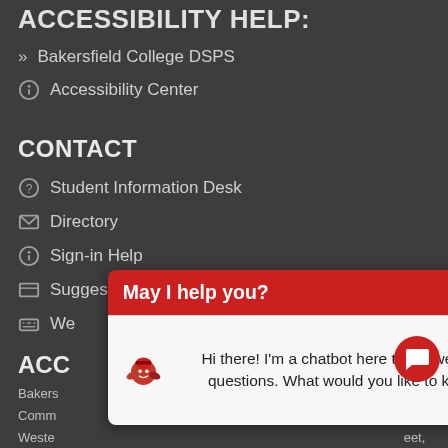ACCESSIBILITY HELP:
» Bakersfield College DSPS
Accessibility Center
CONTACT
Student Information Desk
Directory
Sign-in Help
Suggestion Box
We
ACC
Bakers
Comm
Weste
Suite 200, Sacramento, CA 95814, (415) 506-0234, an
[Figure (screenshot): Chatbot popup overlay with red header reading 'May I help you?' with an X close button, and white body with a mascot avatar and text 'Hi there! I'm a chatbot here to answer your questions. What would you like to know?']